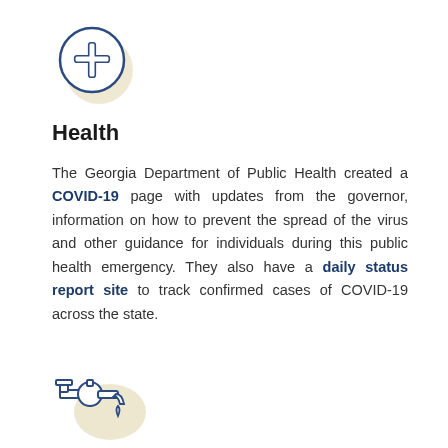[Figure (illustration): A circular icon with a medical cross/plus symbol in dark blue outline on white background, with a subtle beige/tan shadow circle behind it.]
Health
The Georgia Department of Public Health created a COVID-19 page with updates from the governor, information on how to prevent the spread of the virus and other guidance for individuals during this public health emergency. They also have a daily status report site to track confirmed cases of COVID-19 across the state.
[Figure (illustration): A faucet/tap icon in dark blue outline with a beige/tan shadow, showing a water drop falling from the spout. The faucet is mounted on a pipe fixture on the left.]
Disconnected Services
The Georgia Emergency Management and Homeland...